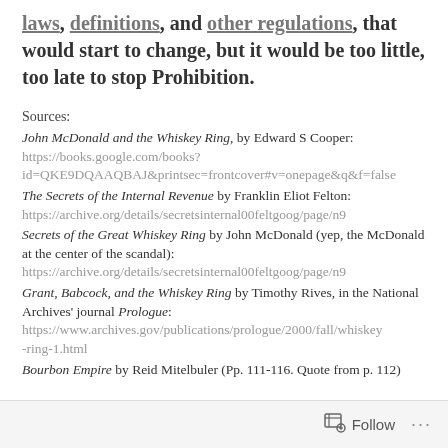laws, definitions, and other regulations, that would start to change, but it would be too little, too late to stop Prohibition.
Sources:
John McDonald and the Whiskey Ring, by Edward S Cooper:
https://books.google.com/books?id=QKE9DQAAQBAJ&printsec=frontcover#v=onepage&q&f=false
The Secrets of the Internal Revenue by Franklin Eliot Felton:
https://archive.org/details/secretsinternal00feltgoog/page/n9
Secrets of the Great Whiskey Ring by John McDonald (yep, the McDonald at the center of the scandal):
https://archive.org/details/secretsinternal00feltgoog/page/n9
Grant, Babcock, and the Whiskey Ring by Timothy Rives, in the National Archives' journal Prologue:
https://www.archives.gov/publications/prologue/2000/fall/whiskey-ring-1.html
Bourbon Empire by Reid Mitelbuler (Pp. 111-116. Quote from p. 112)
Follow ...